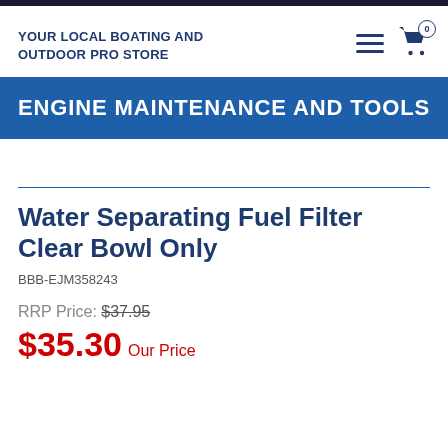YOUR LOCAL BOATING AND OUTDOOR PRO STORE
ENGINE MAINTENANCE AND TOOLS
Water Separating Fuel Filter Clear Bowl Only
BBB-EJM358243
RRP Price: $37.95
$35.30 Our Price